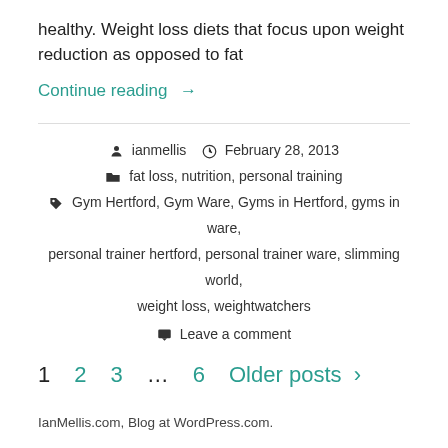healthy. Weight loss diets that focus upon weight reduction as opposed to fat
Continue reading →
ianmellis  February 28, 2013  fat loss, nutrition, personal training  Gym Hertford, Gym Ware, Gyms in Hertford, gyms in ware, personal trainer hertford, personal trainer ware, slimming world, weight loss, weightwatchers  Leave a comment
1  2  3  ...  6  Older posts >
IanMellis.com, Blog at WordPress.com.